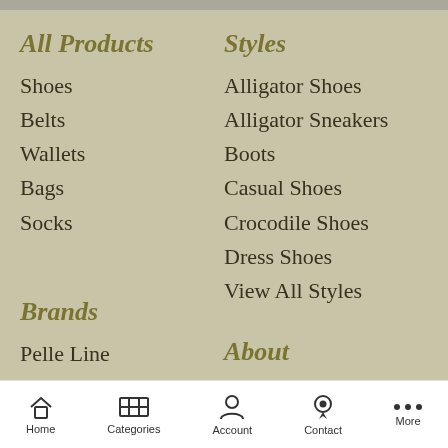All Products
Shoes
Belts
Wallets
Bags
Socks
Styles
Alligator Shoes
Alligator Sneakers
Boots
Casual Shoes
Crocodile Shoes
Dress Shoes
View All Styles
Brands
Pelle Line
Alden
Aldo Brue
Corrente
About
Shoe Care
Privacy Policy
Shipping & Returns
Home  Categories  Account  Contact  More